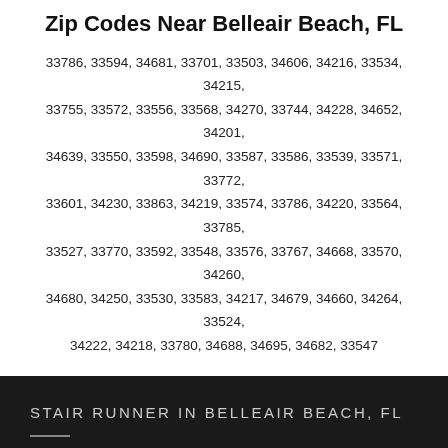Zip Codes Near Belleair Beach, FL
33786, 33594, 34681, 33701, 33503, 34606, 34216, 33534, 34215, 33755, 33572, 33556, 33568, 34270, 33744, 34228, 34652, 34201, 34639, 33550, 33598, 34690, 33587, 33586, 33539, 33571, 33772, 33601, 34230, 33863, 34219, 33574, 33786, 34220, 33564, 33785, 33527, 33770, 33592, 33548, 33576, 33767, 34668, 33570, 34260, 34680, 34250, 33530, 33583, 34217, 34679, 34660, 34264, 33524, 34222, 34218, 33780, 34688, 34695, 34682, 33547
STAIR RUNNER IN BELLEAIR BEACH, FL
Belleair Beach, FL, USA
Call now at: 844-244-3120